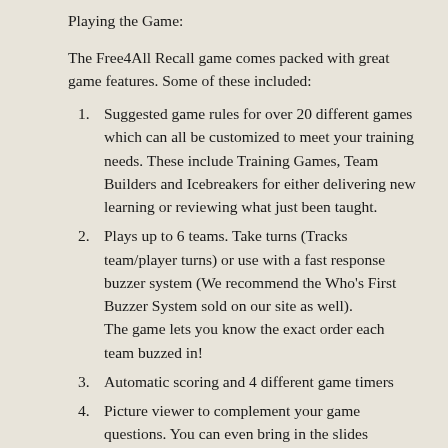Playing the Game:
The Free4All Recall game comes packed with great game features. Some of these included:
Suggested game rules for over 20 different games which can all be customized to meet your training needs. These include Training Games, Team Builders and Icebreakers for either delivering new learning or reviewing what just been taught.
Plays up to 6 teams. Take turns (Tracks team/player turns) or use with a fast response buzzer system (We recommend the Who's First Buzzer System sold on our site as well). The game lets you know the exact order each team buzzed in!
Automatic scoring and 4 different game timers
Picture viewer to complement your game questions. You can even bring in the slides